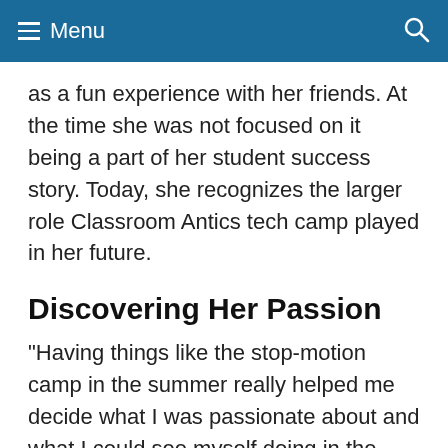Menu
as a fun experience with her friends. At the time she was not focused on it being a part of her student success story. Today, she recognizes the larger role Classroom Antics tech camp played in her future.
Discovering Her Passion
“Having things like the stop-motion camp in the summer really helped me decide what I was passionate about and what I could see myself doing in the future. As a result, it kept me determined to go to art school despite other voices saying I was not going to make it.”